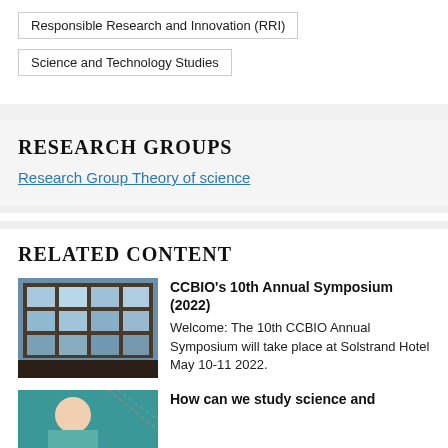Responsible Research and Innovation (RRI)
Science and Technology Studies
RESEARCH GROUPS
Research Group Theory of science
RELATED CONTENT
[Figure (photo): Interior photo of a hotel or conference venue with large windows overlooking water]
CCBIO's 10th Annual Symposium (2022)
Welcome: The 10th CCBIO Annual Symposium will take place at Solstrand Hotel May 10-11 2022.
[Figure (photo): Portrait photo of a person (partially visible)]
How can we study science and